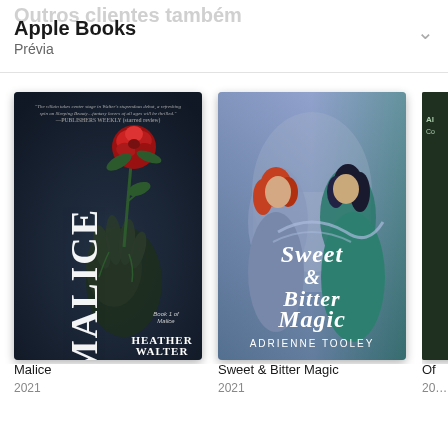Outros clientes também
Apple Books
Prévia
[Figure (illustration): Book cover for 'Malice' by Heather Walter (2021) — dark cover with a hand holding a thorny rose, title in white vertical letters on the left, 'Book 1 of Malice' at bottom right, Publisher's Weekly quote at top]
[Figure (illustration): Book cover for 'Sweet & Bitter Magic' by Adrienne Tooley (2021) — two women (one red-haired, one dark-haired) on a purple/teal background, title in large white serif letters]
[Figure (illustration): Partially visible third book cover on the right edge]
Malice
2021
Sweet & Bitter Magic
2021
Of…
20…